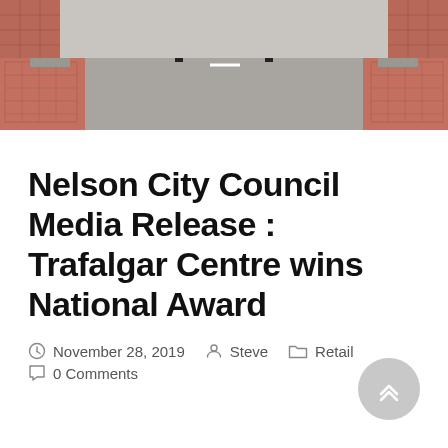[Figure (photo): Outdoor photo showing a pedestrian crossing or plaza area with bollards, paving stones, and what appears to be a public square or town centre setting.]
Nelson City Council Media Release : Trafalgar Centre wins National Award
November 28, 2019   Steve   Retail   0 Comments